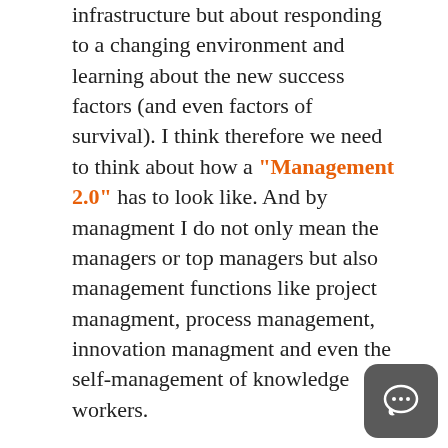infrastructure but about responding to a changing environment and learning about the new success factors (and even factors of survival). I think therefore we need to think about how a "Management 2.0" has to look like. And by managment I do not only mean the managers or top managers but also management functions like project managment, process management, innovation managment and even the self-management of knowledge workers.
After the coffee break Louis-Pierre Guillaume from Schneider Electric (about 140.000 employees) present their community approach as an attempt to push social learning. They define a community as a group of people who share a interest, craft, or profession (quite similar to Etienne Wengers original definition). Mai n goal of